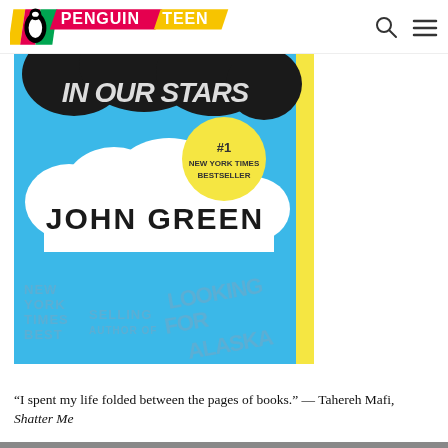PENGUIN TEEN
[Figure (illustration): Book cover of 'The Fault in Our Stars' by John Green. Light blue background with a large black cloud at top with white handwritten text 'IN OUR STARS', a white cloud shape in the middle with 'JOHN GREEN' in black block handwritten letters, a yellow circle badge reading '#1 NEW YORK TIMES BESTSELLER', a yellow vertical stripe on the right edge, and text at bottom reading 'NEW YORK TIMES BEST SELLING AUTHOR OF LOOKING FOR ALASKA' in handwritten style. Yellow vertical bar on right side.]
“I spent my life folded between the pages of books.” — Tahereh Mafi, Shatter Me